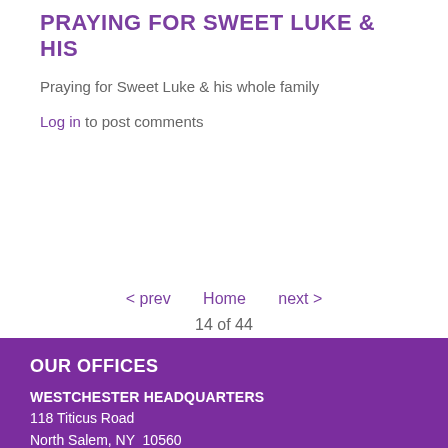PRAYING FOR SWEET LUKE & HIS
Praying for Sweet Luke & his whole family
Log in to post comments
< prev   Home   next >
14 of 44
OUR OFFICES
WESTCHESTER HEADQUARTERS
118 Titicus Road
North Salem, NY 10560
(914) 277-4547
LONG ISLAND OFFICE (New)
150 Broadhollow Road, Suite 112
Melville, NY 11747